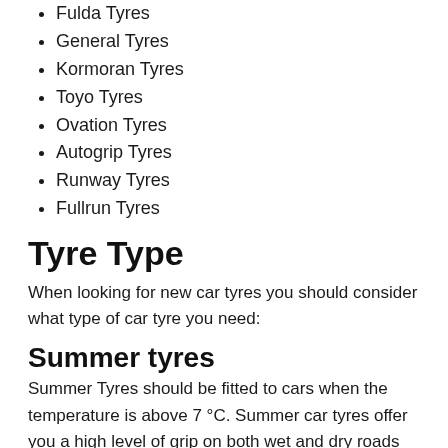Fulda Tyres
General Tyres
Kormoran Tyres
Toyo Tyres
Ovation Tyres
Autogrip Tyres
Runway Tyres
Fullrun Tyres
Tyre Type
When looking for new car tyres you should consider what type of car tyre you need:
Summer tyres
Summer Tyres should be fitted to cars when the temperature is above 7 °C. Summer car tyres offer you a high level of grip on both wet and dry roads and also provide ideal performance in warmer temperatures.
All Season Tyres
All season tyres are based on...